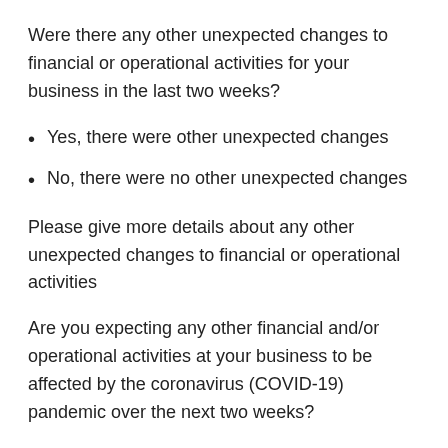Were there any other unexpected changes to financial or operational activities for your business in the last two weeks?
Yes, there were other unexpected changes
No, there were no other unexpected changes
Please give more details about any other unexpected changes to financial or operational activities
Are you expecting any other financial and/or operational activities at your business to be affected by the coronavirus (COVID-19) pandemic over the next two weeks?